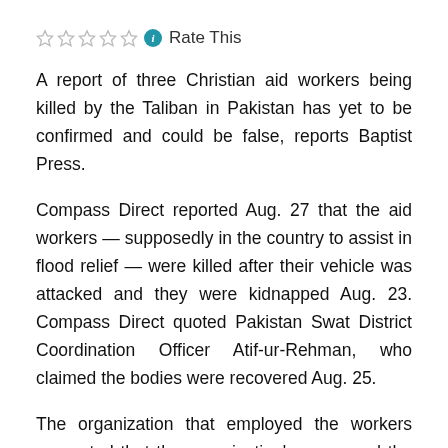Rate This
A report of three Christian aid workers being killed by the Taliban in Pakistan has yet to be confirmed and could be false, reports Baptist Press.
Compass Direct reported Aug. 27 that the aid workers — supposedly in the country to assist in flood relief — were killed after their vehicle was attacked and they were kidnapped Aug. 23. Compass Direct quoted Pakistan Swat District Coordination Officer Atif-ur-Rehman, who claimed the bodies were recovered Aug. 25.
The organization that employed the workers requested that the organization's name and the workers' names be withheld, Compass reported, "for security reasons." Compass said the military sources "who withheld news of